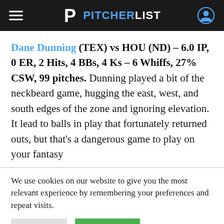PITCHERLIST
Dane Dunning (TEX) vs HOU (ND) – 6.0 IP, 0 ER, 2 Hits, 4 BBs, 4 Ks – 6 Whiffs, 27% CSW, 99 pitches. Dunning played a bit of the neckbeard game, hugging the east, west, and south edges of the zone and ignoring elevation. It lead to balls in play that fortunately returned outs, but that's a dangerous game to play on your fantasy
We use cookies on our website to give you the most relevant experience by remembering your preferences and repeat visits.
Reject All  Accept All